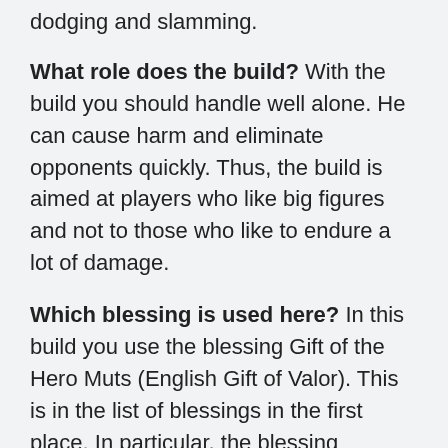dodging and slamming.
What role does the build? With the build you should handle well alone. He can cause harm and eliminate opponents quickly. Thus, the build is aimed at players who like big figures and not to those who like to endure a lot of damage.
Which blessing is used here? In this build you use the blessing Gift of the Hero Muts (English Gift of Valor). This is in the list of blessings in the first place. In particular, the blessing benefits the skill deadly blow and around this is the build built up.